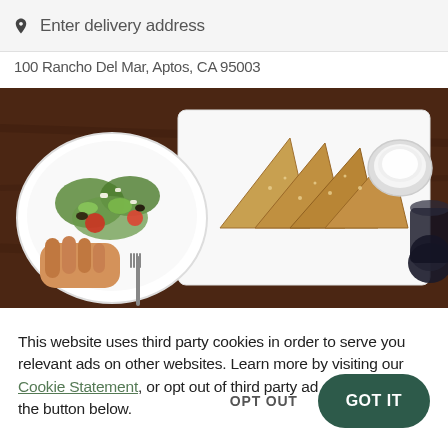Enter delivery address
100 Rancho Del Mar, Aptos, CA 95003
[Figure (photo): Overhead view of a restaurant meal: a hand holding a bowl of Greek salad with vegetables and feta cheese on the left, and a white rectangular plate with triangular-cut flatbread/pastry pieces topped with sesame seeds alongside a small bowl of white dipping sauce on the right, on a dark wooden table with a fork and dark beverage glass visible.]
This website uses third party cookies in order to serve you relevant ads on other websites. Learn more by visiting our Cookie Statement, or opt out of third party ad cookies using the button below.
OPT OUT
GOT IT